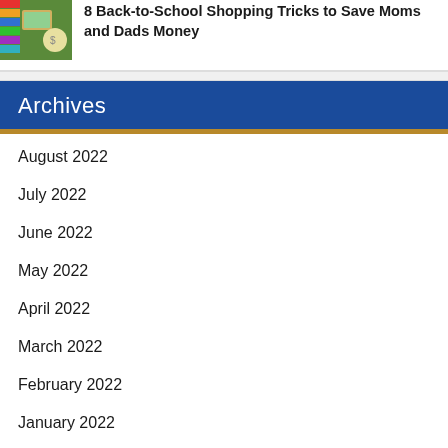[Figure (photo): Thumbnail image of school supplies including colorful pencils and money]
8 Back-to-School Shopping Tricks to Save Moms and Dads Money
Archives
August 2022
July 2022
June 2022
May 2022
April 2022
March 2022
February 2022
January 2022